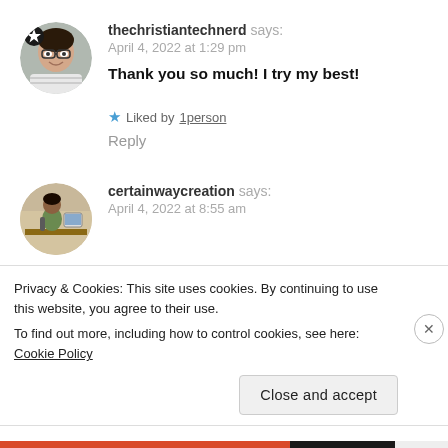[Figure (photo): Circular avatar photo of a woman with glasses smiling, with a star badge icon in the top-left of the circle]
thechristiantechnerd says:
April 4, 2022 at 1:29 pm
Thank you so much! I try my best!
★ Liked by 1person
Reply
[Figure (photo): Circular avatar photo of a man sitting at a desk with a computer]
certainwaycreation says:
April 4, 2022 at 8:55 am
Privacy & Cookies: This site uses cookies. By continuing to use this website, you agree to their use.
To find out more, including how to control cookies, see here: Cookie Policy
Close and accept